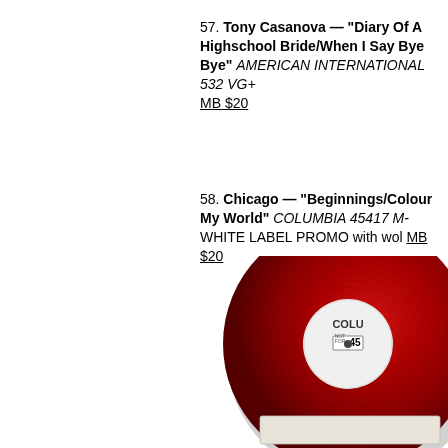57. Tony Casanova — "Diary Of A Highschool Bride/When I Say Bye Bye" AMERICAN INTERNATIONAL 532 VG+ MB $20
58. Chicago — "Beginnings/Colour My World" COLUMBIA 45417 M- WHITE LABEL PROMO with wol MB $20
[Figure (photo): Photo of a red vinyl record with a Columbia label showing '45' on the label, partially visible, positioned in the lower right of the page.]